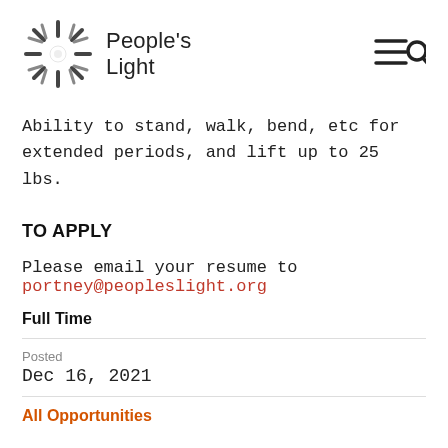People's Light
Ability to stand, walk, bend, etc for extended periods, and lift up to 25 lbs.
TO APPLY
Please email your resume to portney@peopleslight.org
Full Time
Posted
Dec 16, 2021
All Opportunities